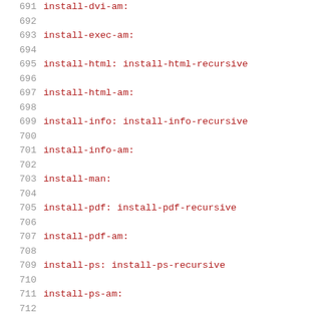691  install-dvi-am:
692
693  install-exec-am:
694
695  install-html: install-html-recursive
696
697  install-html-am:
698
699  install-info: install-info-recursive
700
701  install-info-am:
702
703  install-man:
704
705  install-pdf: install-pdf-recursive
706
707  install-pdf-am:
708
709  install-ps: install-ps-recursive
710
711  install-ps-am:
712